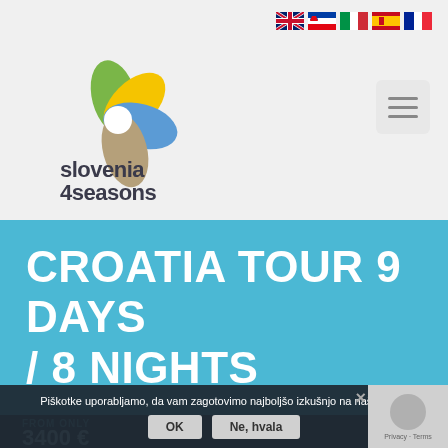Slovenia 4 Seasons website header with logo and navigation flags
[Figure (logo): Slovenia 4 Seasons logo: colorful four-leaf/petal design in green, yellow, blue, and tan/brown colors with text 'slovenia 4seasons' below]
CROATIA TOUR 9 DAYS / 8 NIGHTS
FROM ONLY
3400 €
Piškotke uporabljamo, da vam zagotovimo najboljšo izkušnjo na naši strani.
OK  Ne, hvala